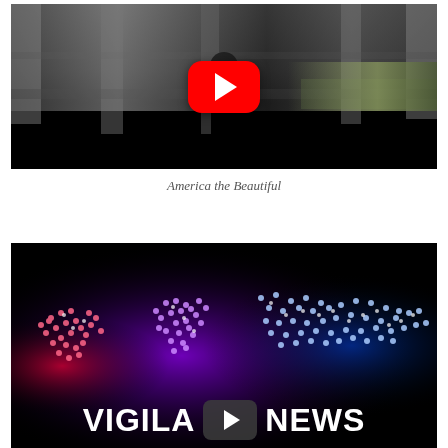[Figure (screenshot): YouTube video thumbnail showing a silhouetted figure in a parking garage with a red YouTube play button overlay]
America the Beautiful
[Figure (screenshot): Video thumbnail with a world map made of glowing dots in purple/red/blue against a dark background, with 'VIGILANT NEWS' text and a play button at bottom]